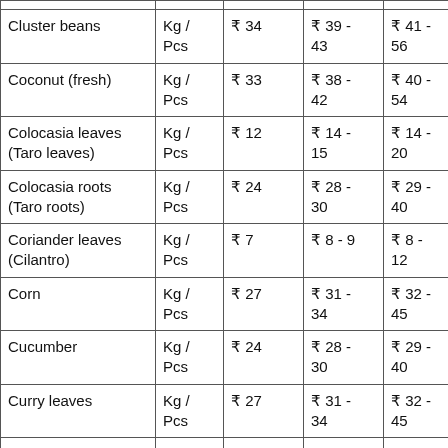| Vegetable | Unit | Modal Price | Price Range (Retail) | Price Range (Wholesale) |
| --- | --- | --- | --- | --- |
| Cluster beans | Kg / Pcs | ₹ 34 | ₹ 39 - 43 | ₹ 41 - 56 |
| Coconut (fresh) | Kg / Pcs | ₹ 33 | ₹ 38 - 42 | ₹ 40 - 54 |
| Colocasia leaves (Taro leaves) | Kg / Pcs | ₹ 12 | ₹ 14 - 15 | ₹ 14 - 20 |
| Colocasia roots (Taro roots) | Kg / Pcs | ₹ 24 | ₹ 28 - 30 | ₹ 29 - 40 |
| Coriander leaves (Cilantro) | Kg / Pcs | ₹ 7 | ₹ 8 - 9 | ₹ 8 - 12 |
| Corn | Kg / Pcs | ₹ 27 | ₹ 31 - 34 | ₹ 32 - 45 |
| Cucumber | Kg / Pcs | ₹ 24 | ₹ 28 - 30 | ₹ 29 - 40 |
| Curry leaves | Kg / Pcs | ₹ 27 | ₹ 31 - 34 | ₹ 32 - 45 |
| Dill leaves | Kg / Pcs | ₹ 15 | ₹ 17 - 19 | ₹ 18 - 25 |
| Drumsticks | Kg / | ₹ 40 | ₹ 46 | ₹ 48 - 66 |